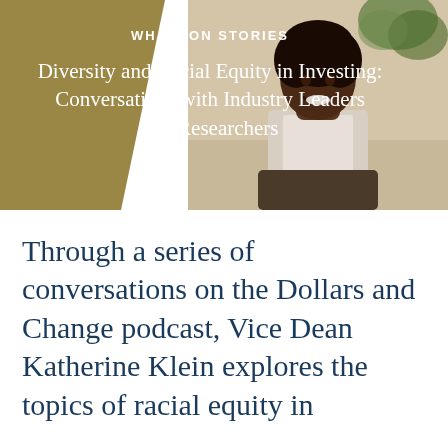[Figure (photo): Hero banner image showing a smiling Black woman in a white blouse, with a gold/olive diagonal overlay on the left side. Text overlay reads 'WHARTON STORIES' and the title 'Diversity and Racial Equity in Investing: Conversations with Industry Leaders and Researchers'.]
WHARTON STORIES
Diversity and Racial Equity in Investing: Conversations with Industry Leaders and Researchers
Through a series of conversations on the Dollars and Change podcast, Vice Dean Katherine Klein explores the topics of racial equity in